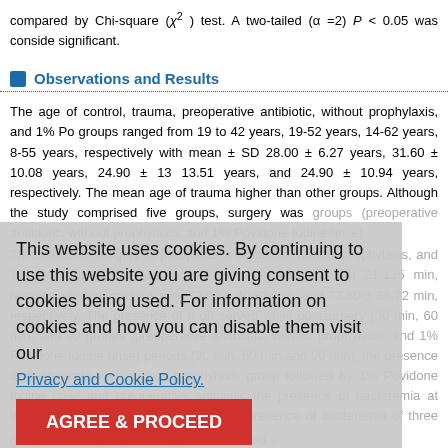compared by Chi-square (χ²) test. A two-tailed (α =2) P < 0.05 was considered significant.
Observations and Results
The age of control, trauma, preoperative antibiotic, without prophylaxis, and 1% Povidone groups ranged from 19 to 42 years, 19-52 years, 14-62 years, 8-55 years, respectively with mean ± SD 28.00 ± 6.27 years, 31.60 ± 10.08 years, 24.90 ± 13.51 years, and 24.90 ± 10.94 years, respectively. The mean age of trauma higher than other groups. Although the study comprised five groups, surgery was groups (preoperative antibiotic, without prophylaxis, and 1% Povidone Iodine rinse). The duration of surgery of preoperative antibiotic, without prophylaxis, and 1% Povidone ranged from 32 to 294 min, 19-148 min, and 21-135 min, respectively with mean ± min, 72.90 ± 40.83 min, and 73.60 ± 38.72 min, respectively. The presence of b observed while postsurgery (30 min, 60 min, and 90 groups (preoperative antibiotic, without prophylaxis, and 1% Povidone Iodine rinse) periods (30 min, 60 min and 90 min), the presence of bacteremia was evident prophylaxis group followed by 1% Povidone Iodine rinse and preoperative antibiotic the presence of bacteremia at three periods similarly in all three groups, presence of bacteremia of three groups at three postperiods, χ² test revealed s bacteremia among the three groups at all three postperiods (χ⁻ = 1.31, P = 0.860).